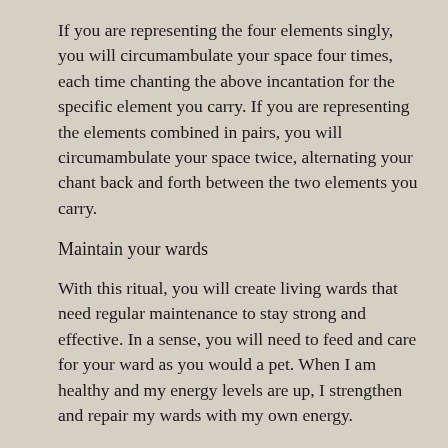If you are representing the four elements singly, you will circumambulate your space four times, each time chanting the above incantation for the specific element you carry. If you are representing the elements combined in pairs, you will circumambulate your space twice, alternating your chant back and forth between the two elements you carry.
Maintain your wards
With this ritual, you will create living wards that need regular maintenance to stay strong and effective. In a sense, you will need to feed and care for your ward as you would a pet. When I am healthy and my energy levels are up, I strengthen and repair my wards with my own energy.
I will sit in the center of my home with my eyes closed and my palms up, and I visualize pouring my own energy from my palms into the wards around me. A friend of mine